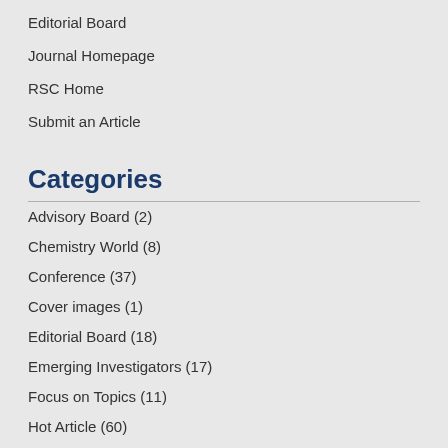Editorial Board
Journal Homepage
RSC Home
Submit an Article
Categories
Advisory Board (2)
Chemistry World (8)
Conference (37)
Cover images (1)
Editorial Board (18)
Emerging Investigators (17)
Focus on Topics (11)
Hot Article (60)
Impact Factor (3)
Lectureship (17)
News (46)
Poster Prize (8)
Themed Issue (7)